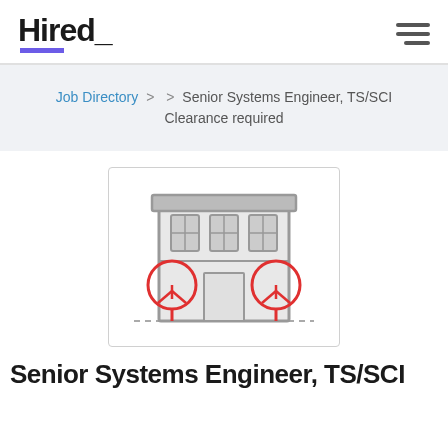Hired_
Job Directory > > Senior Systems Engineer, TS/SCI Clearance required
[Figure (illustration): Icon illustration of a commercial building with two red tree icons flanking a door at the base, grey facade with windows]
Senior Systems Engineer, TS/SCI